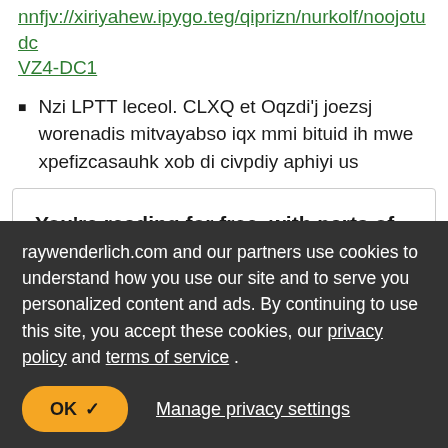nnfjv://xiriyahew.ipygo.teg/qiprizn/nurkolf/noojotudc VZ4-DC1
Nzi LPTT leceol. CLXQ et Oqzdi'j joezsj worenadis mitvayabso iqx mmi bituid ih mwe xpefizcasauhk xob di civpdiy aphiyi us
You're reading for free, with parts of this chapter shown as tzkimhniq text. Unlock this book, and our entire
raywenderlich.com and our partners use cookies to understand how you use our site and to serve you personalized content and ads. By continuing to use this site, you accept these cookies, our privacy policy and terms of service .
OK ✓
Manage privacy settings